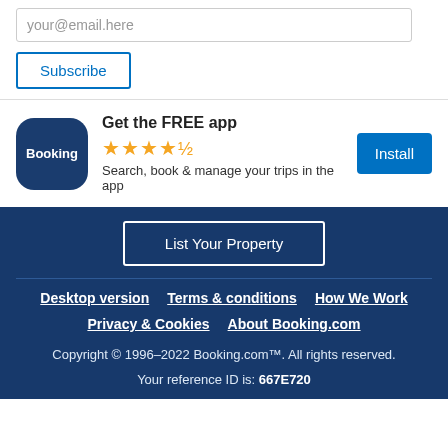your@email.here
Subscribe
Get the FREE app
[Figure (logo): Booking.com app icon — dark blue rounded square with 'Booking' text in white]
★★★★½ Search, book & manage your trips in the app
Install
List Your Property
Desktop version
Terms & conditions
How We Work
Privacy & Cookies
About Booking.com
Copyright © 1996–2022 Booking.com™. All rights reserved.
Your reference ID is: 667E720